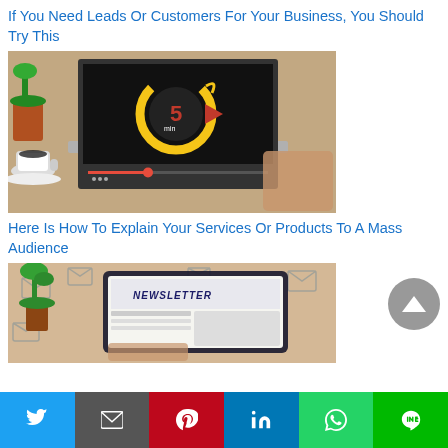If You Need Leads Or Customers For Your Business, You Should Try This
[Figure (photo): Laptop on desk showing a video with a 5-minute timer circle (gold/orange with red play button), coffee cup visible on left, person's hands on keyboard]
Here Is How To Explain Your Services Or Products To A Mass Audience
[Figure (photo): Newsletter displayed on tablet/laptop screen with envelope icons scattered around, green plant on left, person's hands visible]
Twitter | Gmail | Pinterest | LinkedIn | WhatsApp | LINE social share buttons